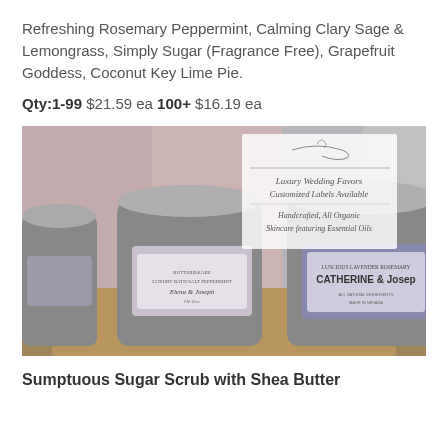Refreshing Rosemary Peppermint, Calming Clary Sage & Lemongrass, Simply Sugar (Fragrance Free), Grapefruit Goddess, Coconut Key Lime Pie.
Qty:1-99 $21.59 ea 100+ $16.19 ea
[Figure (photo): Photo of sugar scrub jars with silver lids and custom labels reading 'CATHERINE & JOSEPH', displayed on kraft paper boxes, with a sign in background reading 'Luxury Wedding Favors, Customized Labels Available, Handcrafted, All Organic Skincare featuring Essential Oils']
Sumptuous Sugar Scrub with Shea Butter